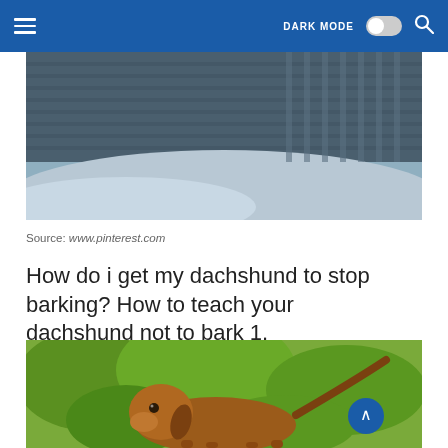DARK MODE [toggle] [search]
[Figure (photo): Close-up photo of folded knit fabric in dark blue/grey and light grey tones]
Source: www.pinterest.com
How do i get my dachshund to stop barking? How to teach your dachshund not to bark 1.
[Figure (photo): Photo of a brown dachshund dog looking at camera with green foliage background]